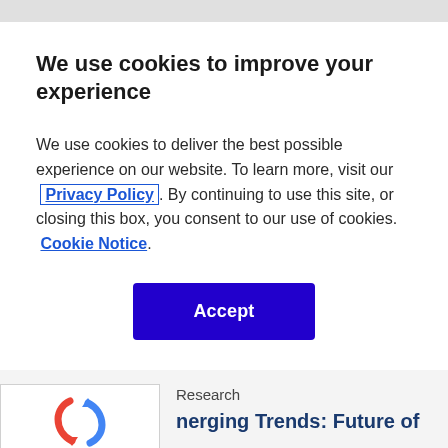We use cookies to improve your experience
We use cookies to deliver the best possible experience on our website. To learn more, visit our  Privacy Policy. By continuing to use this site, or closing this box, you consent to our use of cookies.  Cookie Notice.
[Figure (other): Blue Accept button]
[Figure (logo): reCAPTCHA logo with Privacy - Terms text]
Research
nerging Trends: Future of